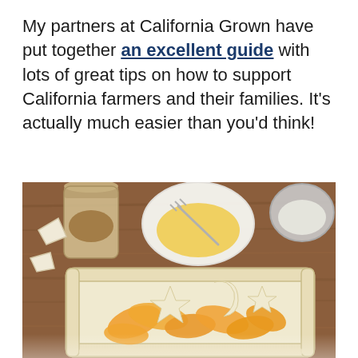My partners at California Grown have put together an excellent guide with lots of great tips on how to support California farmers and their families. It's actually much easier than you'd think!
[Figure (photo): Overhead photo of a peach pie being assembled on a wooden cutting board, with a star-and-moon shaped pastry crust on top of sliced peaches in a rectangular pie dish. Surrounding items include a glass jar of brown sugar/spice, a white bowl with beaten egg and a fork, and a small metal bowl with cream.]